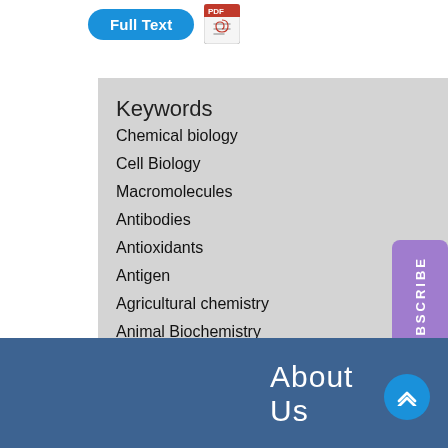Full Text
Keywords
Chemical biology
Cell Biology
Macromolecules
Antibodies
Antioxidants
Antigen
Agricultural chemistry
Animal Biochemistry
About Us